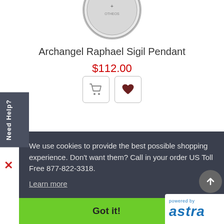[Figure (photo): A circular coin/medallion pendant, partially visible at the top of the page, silver colored with engraving including a cross and text 'OTHEOS']
Archangel Raphael Sigil Pendant
$112.00
[Figure (other): Two square buttons: a shopping cart button and a heart/wishlist button]
Need Help?
We use cookies to provide the best possible shopping experience. Don't want them? Call in your order US Toll Free 877-822-3318.
Learn more
Got it!
[Figure (logo): Powered by astra logo in blue]